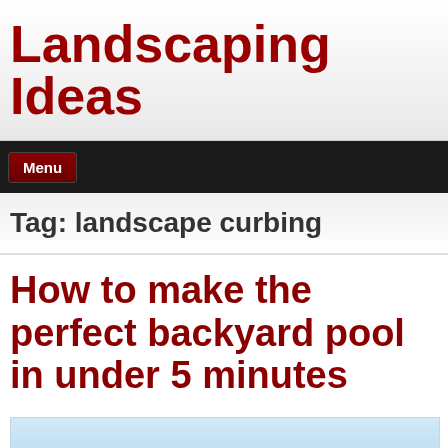Landscaping Ideas
Menu
Tag: landscape curbing
How to make the perfect backyard pool in under 5 minutes
[Figure (photo): Partial image preview of backyard pool, light blue sky tones visible at bottom of page]